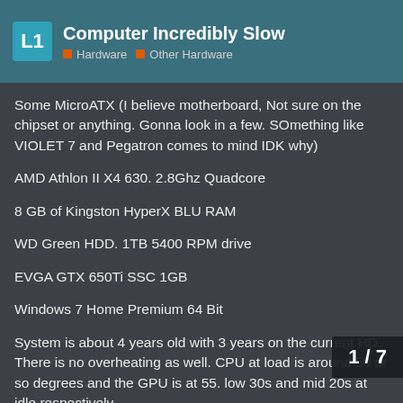Computer Incredibly Slow | Hardware | Other Hardware
Some MicroATX (I believe motherboard, Not sure on the chipset or anything. Gonna look in a few. SOmething like VIOLET 7 and Pegatron comes to mind IDK why)
AMD Athlon II X4 630. 2.8Ghz Quadcore
8 GB of Kingston HyperX BLU RAM
WD Green HDD. 1TB 5400 RPM drive
EVGA GTX 650Ti SSC 1GB
Windows 7 Home Premium 64 Bit
System is about 4 years old with 3 years on the current HD. There is no overheating as well. CPU at load is around 50 or so degrees and the GPU is at 55. low 30s and mid 20s at idle respectively
Just want to add that some flies were co year or two ago but I repaired them. Ho
1 / 7